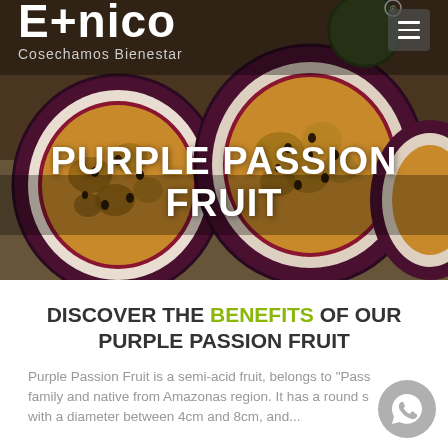[Figure (photo): Hero banner showing cross-sections of purple passion fruit on a burlap background, with the Etnico logo and navigation bar overlaid at top, and 'PURPLE PASSION FRUIT' title overlaid at bottom center]
PURPLE PASSION FRUIT
DISCOVER THE BENEFITS OF OUR PURPLE PASSION FRUIT
Purple Passion Fruit is a semi-acid fruit, belongs to 'Pass' family and native from Amazonas region. It has a round s with a diameter between 4cm and 8cm, and...